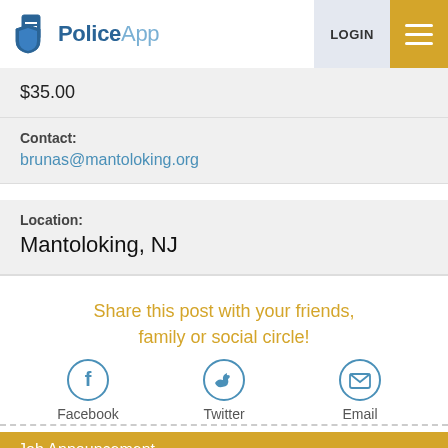PoliceApp LOGIN
$35.00
Contact: brunas@mantoloking.org
Location: Mantoloking, NJ
Share this post with your friends, family or social circle!
Facebook
Twitter
Email
Job Announcement